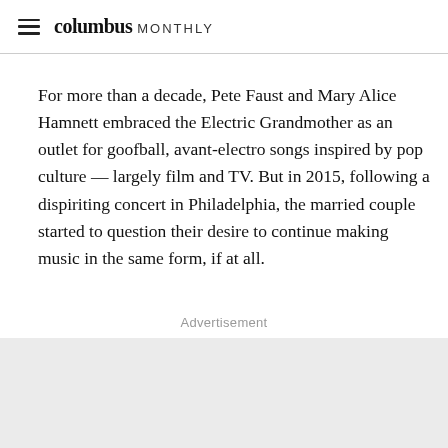columbus MONTHLY
For more than a decade, Pete Faust and Mary Alice Hamnett embraced the Electric Grandmother as an outlet for goofball, avant-electro songs inspired by pop culture — largely film and TV. But in 2015, following a dispiriting concert in Philadelphia, the married couple started to question their desire to continue making music in the same form, if at all.
Advertisement